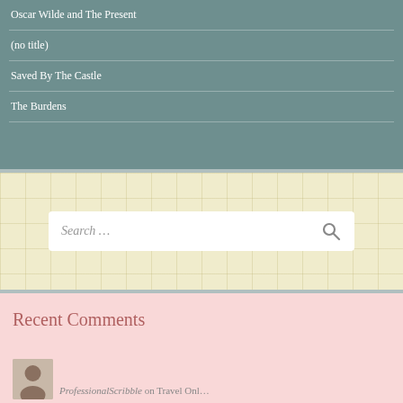Oscar Wilde and The Present
(no title)
Saved By The Castle
The Burdens
Search …
Recent Comments
ProfessionalScribble on Travel Onl…